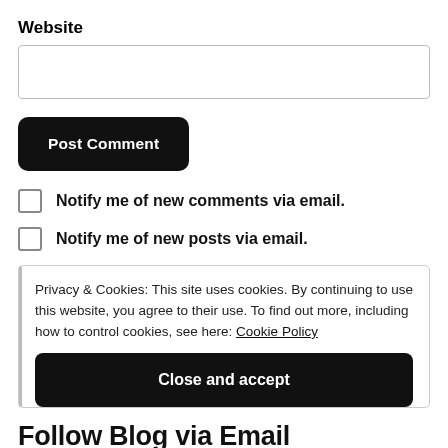Website
Post Comment
Notify me of new comments via email.
Notify me of new posts via email.
Privacy & Cookies: This site uses cookies. By continuing to use this website, you agree to their use. To find out more, including how to control cookies, see here: Cookie Policy
Close and accept
Follow Blog via Email